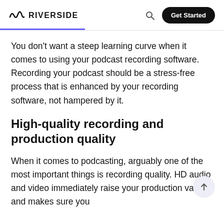RIVERSIDE | Get Started
You don’t want a steep learning curve when it comes to using your podcast recording software. Recording your podcast should be a stress-free process that is enhanced by your recording software, not hampered by it.
High-quality recording and production quality
When it comes to podcasting, arguably one of the most important things is recording quality. HD audio and video immediately raise your production value and makes sure you